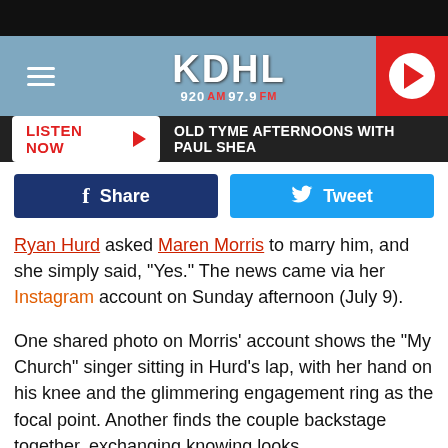[Figure (screenshot): KDHL radio station website header with hamburger menu, KDHL 920 AM 97.9 FM logo on blue textured background, and red play button circle on right]
LISTEN NOW ▶   OLD TYME AFTERNOONS WITH PAUL SHEA
[Figure (other): Facebook Share button (dark blue) and Twitter Tweet button (light blue)]
Ryan Hurd asked Maren Morris to marry him, and she simply said, "Yes." The news came via her Instagram account on Sunday afternoon (July 9).
One shared photo on Morris' account shows the "My Church" singer sitting in Hurd's lap, with her hand on his knee and the glimmering engagement ring as the focal point. Another finds the couple backstage together, exchanging knowing looks.
Singer-songwriter Hurd may have proposed to Morris on July